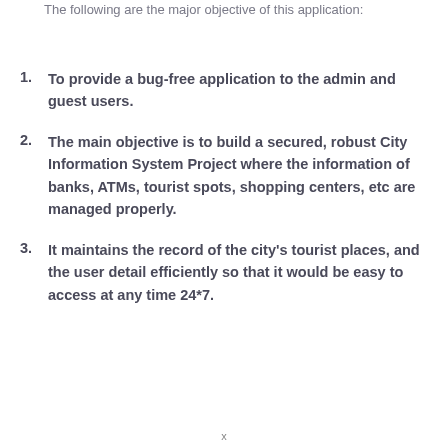The following are the major objective of this application:
To provide a bug-free application to the admin and guest users.
The main objective is to build a secured, robust City Information System Project where the information of banks, ATMs, tourist spots, shopping centers, etc are managed properly.
It maintains the record of the city’s tourist places, and the user detail efficiently so that it would be easy to access at any time 24*7.
x